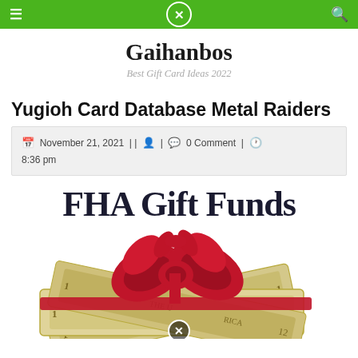Gaihanbos navigation bar
Gaihanbos
Best Gift Card Ideas 2022
Yugioh Card Database Metal Raiders
November 21, 2021 || [user icon] | [comment icon] 0 Comment | [clock icon] 8:36 pm
[Figure (photo): FHA Gift Funds promotional image showing a stack of US dollar bills wrapped with a red gift bow ribbon]